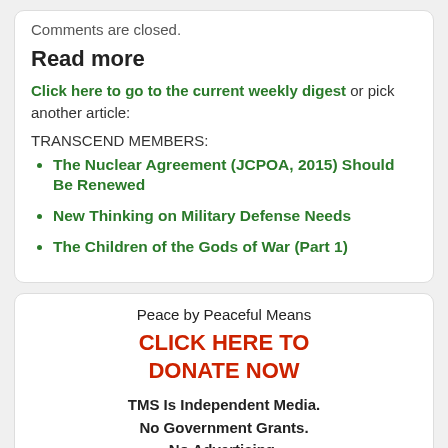Comments are closed.
Read more
Click here to go to the current weekly digest or pick another article:
TRANSCEND MEMBERS:
The Nuclear Agreement (JCPOA, 2015) Should Be Renewed
New Thinking on Military Defense Needs
The Children of the Gods of War (Part 1)
Peace by Peaceful Means
CLICK HERE TO DONATE NOW
TMS Is Independent Media. No Government Grants. No Advertising.